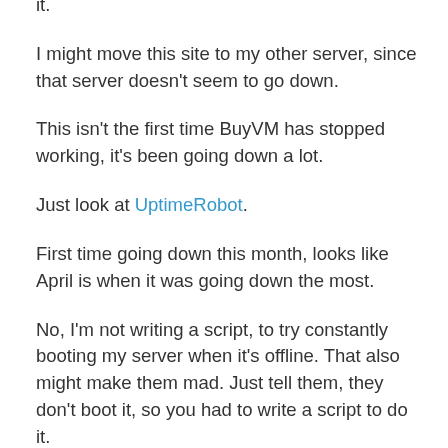it.
I might move this site to my other server, since that server doesn't seem to go down.
This isn't the first time BuyVM has stopped working, it's been going down a lot.
Just look at UptimeRobot.
First time going down this month, looks like April is when it was going down the most.
No, I'm not writing a script, to try constantly booting my server when it's offline. That also might make them mad. Just tell them, they don't boot it, so you had to write a script to do it.
They might have the cheapest block storage, but it's useless if your server is going down for five hours randomly. That is why I haven't switched hosts, nobody has block storage for as cheap. A lot of hosts, don't